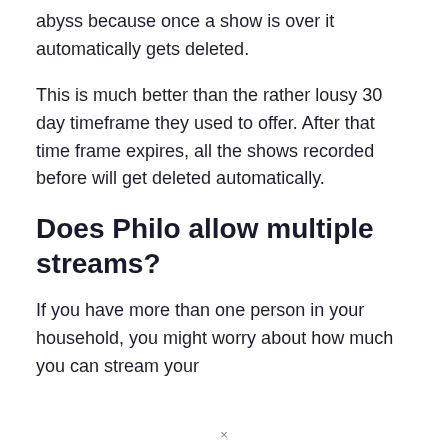abyss because once a show is over it automatically gets deleted.
This is much better than the rather lousy 30 day timeframe they used to offer. After that time frame expires, all the shows recorded before will get deleted automatically.
Does Philo allow multiple streams?
If you have more than one person in your household, you might worry about how much you can stream your
×